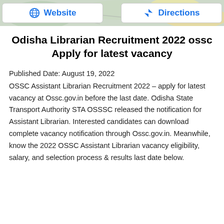[Figure (screenshot): Top bar with Website and Directions buttons over a map background]
Odisha Librarian Recruitment 2022 ossc Apply for latest vacancy
Published Date: August 19, 2022
OSSC Assistant Librarian Recruitment 2022 – apply for latest vacancy at Ossc.gov.in before the last date. Odisha State Transport Authority STA OSSSC released the notification for Assistant Librarian. Interested candidates can download complete vacancy notification through Ossc.gov.in. Meanwhile, know the 2022 OSSC Assistant Librarian vacancy eligibility, salary, and selection process & results last date below.